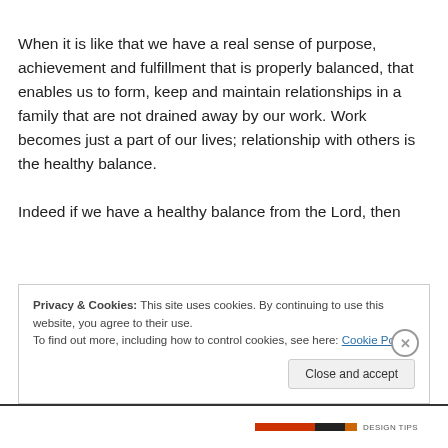When it is like that we have a real sense of purpose, achievement and fulfillment that is properly balanced, that enables us to form, keep and maintain relationships in a family that are not drained away by our work. Work becomes just a part of our lives; relationship with others is the healthy balance.

Indeed if we have a healthy balance from the Lord, then
Privacy & Cookies: This site uses cookies. By continuing to use this website, you agree to their use.
To find out more, including how to control cookies, see here: Cookie Policy
Close and accept